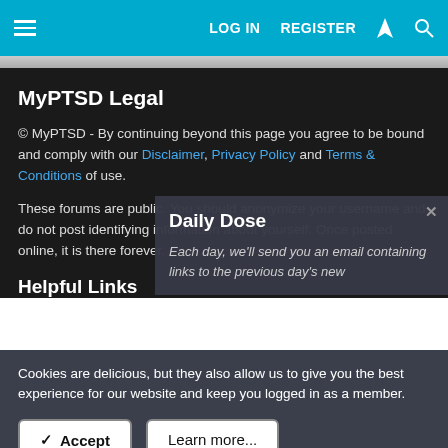LOG IN  REGISTER
MyPTSD Legal
© MyPTSD - By continuing beyond this page you agree to be bound and comply with our Disclaimer, Privacy Policy and Terms & Conditions of use.
These forums are public. You should anonymize your username and do not post identifying information about yourself. Once posted online, it is there forever.
[Figure (screenshot): Daily Dose popup overlay with text: Each day, we'll send you an email containing links to the previous day's new...]
Helpful Links
Cookies are delicious, but they also allow us to give you the best experience for our website and keep you logged in as a member.
✓ Accept
Learn more...